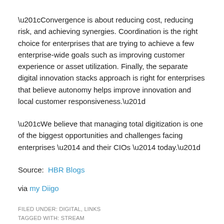“Convergence is about reducing cost, reducing risk, and achieving synergies. Coordination is the right choice for enterprises that are trying to achieve a few enterprise-wide goals such as improving customer experience or asset utilization. Finally, the separate digital innovation stacks approach is right for enterprises that believe autonomy helps improve innovation and local customer responsiveness.”
“We believe that managing total digitization is one of the biggest opportunities and challenges facing enterprises — and their CIOs — today.”
Source:  HBR Blogs
via my Diigo
FILED UNDER: DIGITAL, LINKS
TAGGED WITH: STREAM